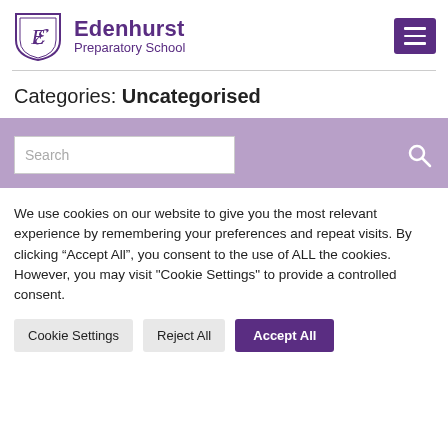[Figure (logo): Edenhurst Preparatory School logo with shield containing stylized E, purple text]
Categories: Uncategorised
[Figure (screenshot): Search bar on purple background with search input field and search icon button]
We use cookies on our website to give you the most relevant experience by remembering your preferences and repeat visits. By clicking “Accept All”, you consent to the use of ALL the cookies. However, you may visit "Cookie Settings" to provide a controlled consent.
Cookie Settings | Reject All | Accept All